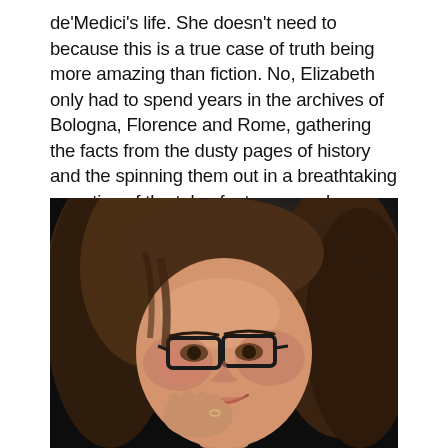de'Medici's life. She doesn't need to because this is a true case of truth being more amazing than fiction. No, Elizabeth only had to spend years in the archives of Bologna, Florence and Rome, gathering the facts from the dusty pages of history and the spinning them out in a breathtaking narrative of the tale of a true superhero.
[Figure (photo): A woman with brown hair and black-rimmed glasses, smiling warmly with her hand raised near her cheek, photographed against a dark blurred background.]